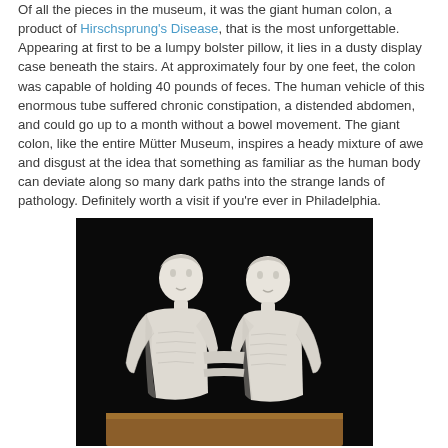Of all the pieces in the museum, it was the giant human colon, a product of Hirschsprung's Disease, that is the most unforgettable. Appearing at first to be a lumpy bolster pillow, it lies in a dusty display case beneath the stairs. At approximately four by one feet, the colon was capable of holding 40 pounds of feces. The human vehicle of this enormous tube suffered chronic constipation, a distended abdomen, and could go up to a month without a bowel movement. The giant colon, like the entire Mütter Museum, inspires a heady mixture of awe and disgust at the idea that something as familiar as the human body can deviate along so many dark paths into the strange lands of pathology. Definitely worth a visit if you're ever in Philadelphia.
[Figure (photo): Black and white photograph of two conjoined twin sculptures or casts, showing the upper bodies of two figures facing each other, joined at the torso, displayed against a black background on a wooden surface.]